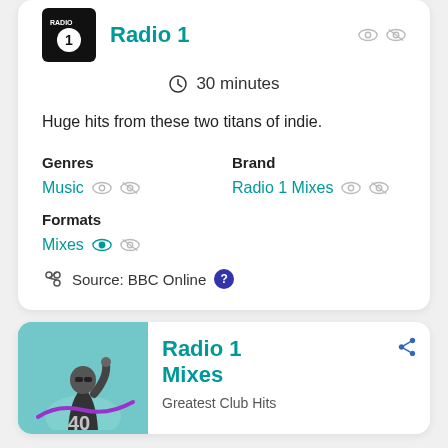Radio 1
30 minutes
Huge hits from these two titans of indie.
Genres
Music
Brand
Radio 1 Mixes
Formats
Mixes
Source: BBC Online
Radio 1 Mixes
Greatest Club Hits